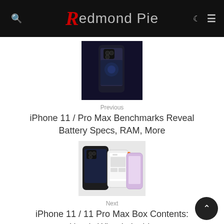Redmond Pie
[Figure (photo): iPhone 11 Pro Max shown from back, space gray, against dark background]
Previous
iPhone 11 / Pro Max Benchmarks Reveal Battery Specs, RAM, More
[Figure (photo): iPhone 11 Pro and iPhone 11 shown side by side, multiple colors including space gray and orange/purple]
Next
iPhone 11 / 11 Pro Max Box Contents: Here's What Is Inside